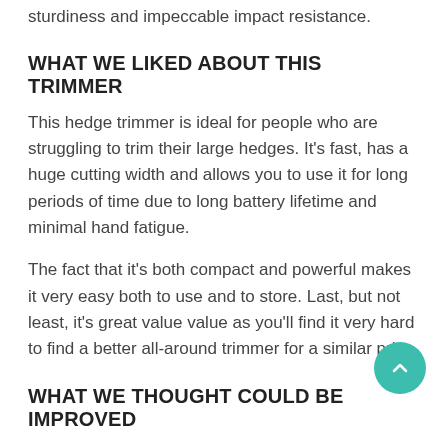sturdiness and impeccable impact resistance.
WHAT WE LIKED ABOUT THIS TRIMMER
This hedge trimmer is ideal for people who are struggling to trim their large hedges. It's fast, has a huge cutting width and allows you to use it for long periods of time due to long battery lifetime and minimal hand fatigue.
The fact that it's both compact and powerful makes it very easy both to use and to store. Last, but not least, it's great value value as you'll find it very hard to find a better all-around trimmer for a similar price.
WHAT WE THOUGHT COULD BE IMPROVED
It's not that this trimmer can't be used for smaller hedges. In fact, the small design it sports might make you think that that's precisely what it was designed for. However, the big blades and cutting gap it would take longer than other